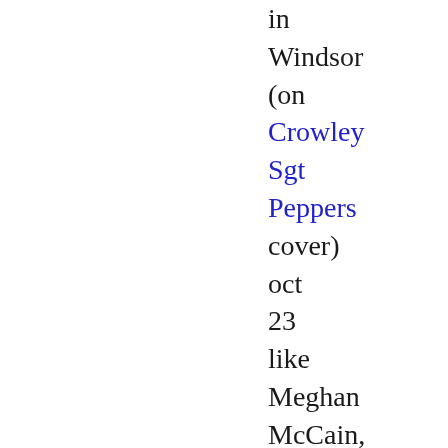in Windsor (on Crowley Sgt Peppers cover) oct 23 like Meghan McCain, later that year. Teenage